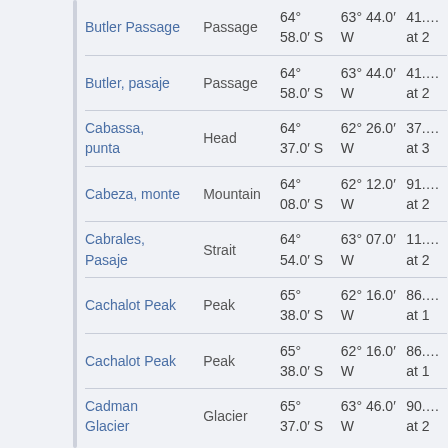| Name | Type | Latitude | Longitude | Other |
| --- | --- | --- | --- | --- |
| Butler Passage | Passage | 64° 58.0' S | 63° 44.0' W | 41.… at 2 |
| Butler, pasaje | Passage | 64° 58.0' S | 63° 44.0' W | 41.… at 2 |
| Cabassa, punta | Head | 64° 37.0' S | 62° 26.0' W | 37.… at 3 |
| Cabeza, monte | Mountain | 64° 08.0' S | 62° 12.0' W | 91.… at 2 |
| Cabrales, Pasaje | Strait | 64° 54.0' S | 63° 07.0' W | 11.… at 2 |
| Cachalot Peak | Peak | 65° 38.0' S | 62° 16.0' W | 86.… at 1 |
| Cachalot Peak | Peak | 65° 38.0' S | 62° 16.0' W | 86.… at 1 |
| Cadman Glacier | Glacier | 65° 37.0' S | 63° 46.0' W | 90.… at 2 |